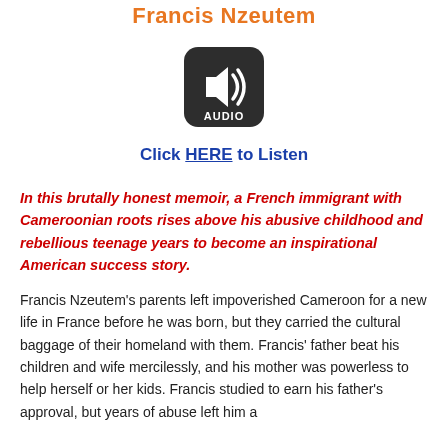Francis Nzeutem
[Figure (illustration): Audio button icon: dark rounded square with speaker/audio symbol and label AUDIO]
Click HERE to Listen
In this brutally honest memoir, a French immigrant with Cameroonian roots rises above his abusive childhood and rebellious teenage years to become an inspirational American success story.
Francis Nzeutem's parents left impoverished Cameroon for a new life in France before he was born, but they carried the cultural baggage of their homeland with them. Francis' father beat his children and wife mercilessly, and his mother was powerless to help herself or her kids. Francis studied to earn his father's approval, but years of abuse left him a